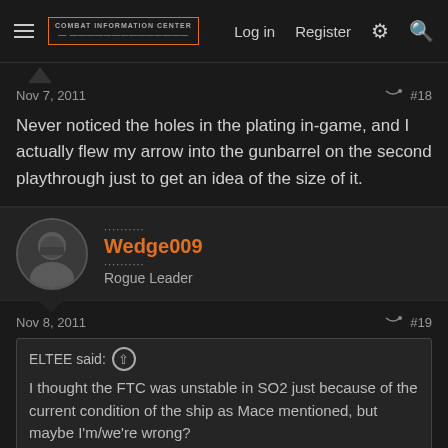Combat Information Center — Log in  Register
Nov 7, 2011  #18
Never noticed the holes in the plating in-game, and I actually flew my arrow into the gunbarrel on the second playthrough just to get an idea of the size of it.
Wedge009
Rogue Leader
Nov 8, 2011  #19
ELTEE said:
I thought the FTC was unstable in SO2 just because of the current condition of the ship as Mace mentioned, but maybe I'm/we're wrong?
I think the reduced power capacity of the Concordia in SO2 and the general decommissioning of the Confederation line because of the PTC are separate issues. I can't recall the reference for